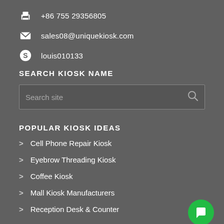+86 755 29356805
sales08@uniquekiosk.com
louis010133
SEARCH KIOSK NAME
Search site
POPULAR KIOSK IDEAS
Cell Phone Repair Kiosk
Eyebrow Threading Kiosk
Coffee Kiosk
Mall Kiosk Manufacturers
Reception Desk & Counter